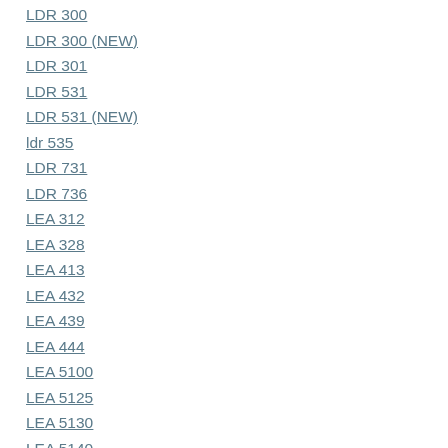LDR 300
LDR 300 (NEW)
LDR 301
LDR 531
LDR 531 (NEW)
ldr 535
LDR 731
LDR 736
LEA 312
LEA 328
LEA 413
LEA 432
LEA 439
LEA 444
LEA 5100
LEA 5125
LEA 5130
LEA 5140